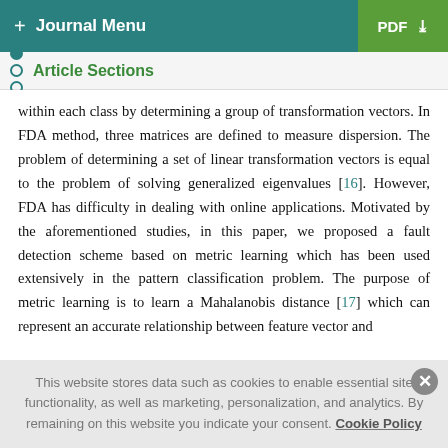+ Journal Menu | PDF ↓
Article Sections
within each class by determining a group of transformation vectors. In FDA method, three matrices are defined to measure dispersion. The problem of determining a set of linear transformation vectors is equal to the problem of solving generalized eigenvalues [16]. However, FDA has difficulty in dealing with online applications. Motivated by the aforementioned studies, in this paper, we proposed a fault detection scheme based on metric learning which has been used extensively in the pattern classification problem. The purpose of metric learning is to learn a Mahalanobis distance [17] which can represent an accurate relationship between feature vector and
This website stores data such as cookies to enable essential site functionality, as well as marketing, personalization, and analytics. By remaining on this website you indicate your consent. Cookie Policy